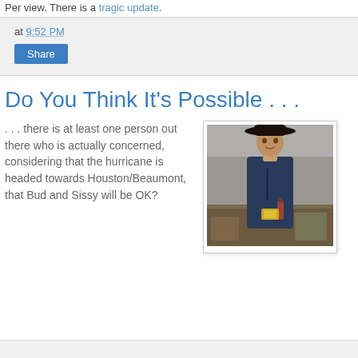Per view. There is a tragic update.
at 9:52 PM
Share
Do You Think It's Possible . . .
. . . there is at least one person out there who is actually concerned, considering that the hurricane is headed towards Houston/Beaumont, that Bud and Sissy will be OK?
[Figure (photo): A man wearing a black cowboy hat and dark denim shirt, leaning against a bar or counter, holding a bottle. Appears to be a movie still from Urban Cowboy.]